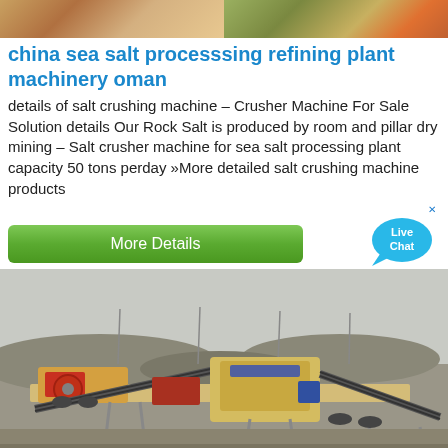[Figure (photo): Top banner image showing mining/quarry equipment and terrain, split into two sections]
china sea salt processsing refining plant machinery oman
details of salt crushing machine – Crusher Machine For Sale Solution details Our Rock Salt is produced by room and pillar dry mining – Salt crusher machine for sea salt processing plant capacity 50 tons perday »More detailed salt crushing machine products
[Figure (screenshot): Green 'More Details' button and a blue Live Chat speech bubble icon in the upper right]
[Figure (photo): Photograph of large yellow industrial crushing/screening plant machinery set up outdoors in a dusty arid environment]